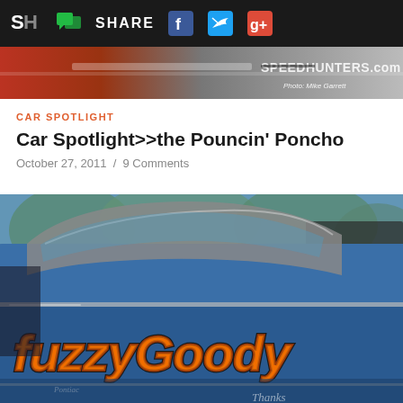SHARE
[Figure (screenshot): Hero banner strip from Speedhunters.com with photo credit 'Photo: Mike Garrett']
CAR SPOTLIGHT
Car Spotlight>>the Pouncin' Poncho
October 27, 2011  /  9 Comments
[Figure (photo): Close-up photograph of a blue classic car (Pontiac) with large orange and black custom lettering reading 'fuzzyGoody' painted on the side door/quarter panel]